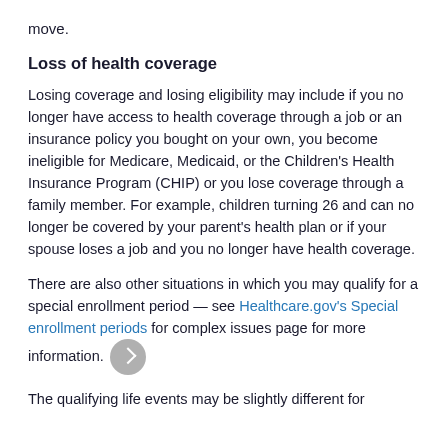move.
Loss of health coverage
Losing coverage and losing eligibility may include if you no longer have access to health coverage through a job or an insurance policy you bought on your own, you become ineligible for Medicare, Medicaid, or the Children's Health Insurance Program (CHIP) or you lose coverage through a family member. For example, children turning 26 and can no longer be covered by your parent's health plan or if your spouse loses a job and you no longer have health coverage.
There are also other situations in which you may qualify for a special enrollment period — see Healthcare.gov's Special enrollment periods for complex issues page for more information.
The qualifying life events may be slightly different for